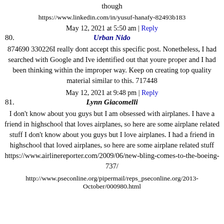though
https://www.linkedin.com/in/yusuf-hanafy-82493b183
May 12, 2021 at 5:50 am | Reply
80. Urban Nido
874690 330226I really dont accept this specific post. Nonetheless, I had searched with Google and Ive identified out that youre proper and I had been thinking within the improper way. Keep on creating top quality material similar to this. 717448
May 12, 2021 at 9:48 pm | Reply
81. Lynn Giacomelli
I don't know about you guys but I am obsessed with airplanes. I have a friend in highschool that loves airplanes, so here are some airplane related stuff I don't know about you guys but I love airplanes. I had a friend in highschool that loved airplanes, so here are some airplane related stuff https://www.airlinereporter.com/2009/06/new-bling-comes-to-the-boeing-737/
http://www.pseconline.org/pipermail/reps_pseconline.org/2013-October/000980.html